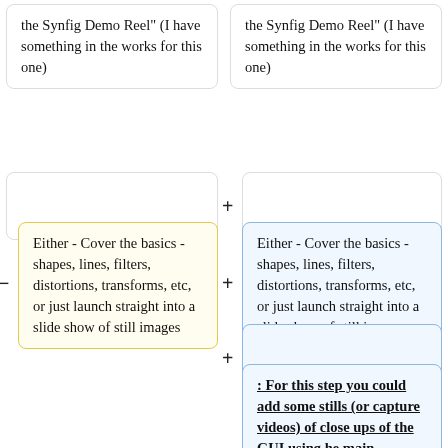the Synfig Demo Reel" (I have something in the works for this one)
the Synfig Demo Reel" (I have something in the works for this one)
Either - Cover the basics - shapes, lines, filters, distortions, transforms, etc, or just launch straight into a slide show of still images
Either - Cover the basics - shapes, lines, filters, distortions, transforms, etc, or just launch straight into a slide show of still images.
: For this step you could add some stills (or capture videos) of close ups of the GUI using he main important synfig features (parameter list, keyframes, navigator, waypoints, gradients, effects,